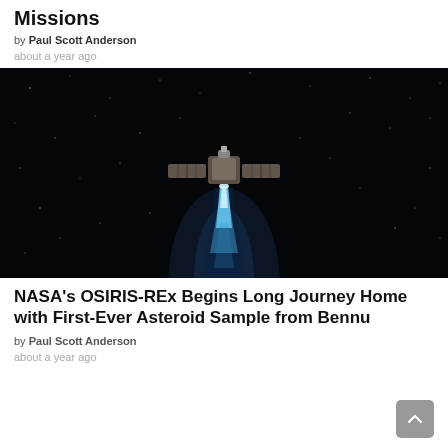Missions
by Paul Scott Anderson
about a year ago
[Figure (photo): Artist rendering of NASA OSIRIS-REx spacecraft firing thruster in deep space with blue engine plume against dark starry background]
NASA's OSIRIS-REx Begins Long Journey Home with First-Ever Asteroid Sample from Bennu
by Paul Scott Anderson
about a year ago